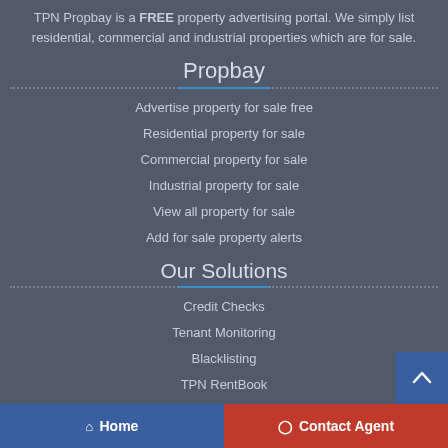TPN Propbay is a FREE property advertising portal. We simply list residential, commercial and industrial properties which are for sale.
Propbay
Advertise property for sale free
Residential property for sale
Commercial property for sale
Industrial property for sale
View all property for sale
Add for sale property alerts
Our Solutions
Credit Checks
Tenant Monitoring
Blacklisting
TPN RentBook
Home | Contact Agent